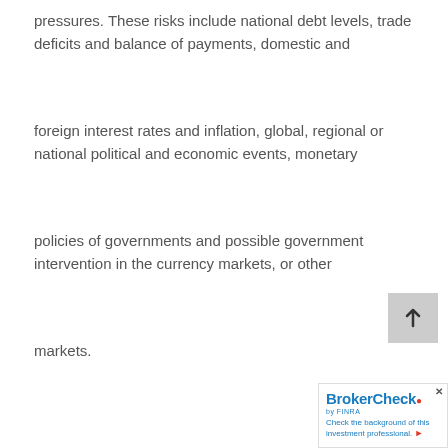pressures. These risks include national debt levels, trade deficits and balance of payments, domestic and
foreign interest rates and inflation, global, regional or national political and economic events, monetary
policies of governments and possible government intervention in the currency markets, or other
markets.